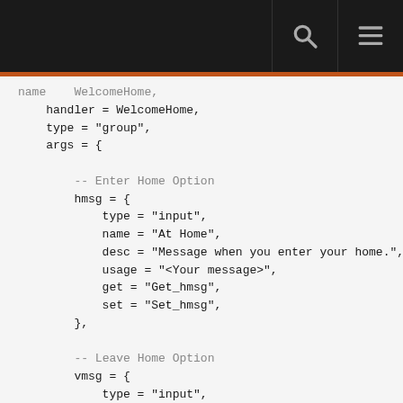[search icon] [menu icon]
[Figure (screenshot): Code snippet showing Lua configuration with WelcomeHome handler, type group, args containing hmsg (Enter Home Option with input type, At Home name, message desc, usage, get/set handlers) and vmsg (Leave Home Option with input type)]